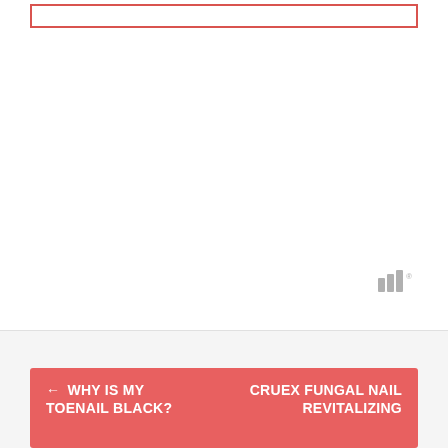[Figure (other): Empty red-bordered rectangular box at top of page, likely a placeholder for an image or advertisement]
[Figure (logo): Watermark logo with three vertical bars of increasing height and a superscript symbol, in gray]
← WHY IS MY TOENAIL BLACK?
CRUEX FUNGAL NAIL REVITALIZING